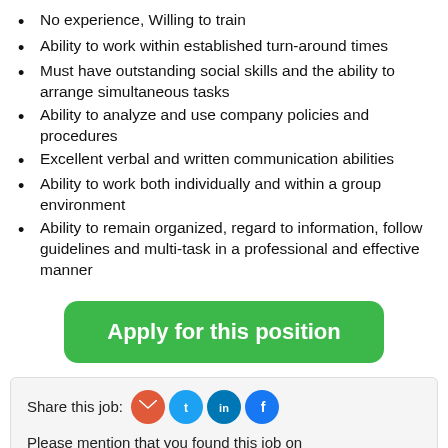No experience, Willing to train
Ability to work within established turn-around times
Must have outstanding social skills and the ability to arrange simultaneous tasks
Ability to analyze and use company policies and procedures
Excellent verbal and written communication abilities
Ability to work both individually and within a group environment
Ability to remain organized, regard to information, follow guidelines and multi-task in a professional and effective manner
[Figure (other): Green rounded rectangle button labeled 'Apply for this position']
Share this job: [email icon] [twitter icon] [linkedin icon] [facebook icon]
Please mention that you found this job on